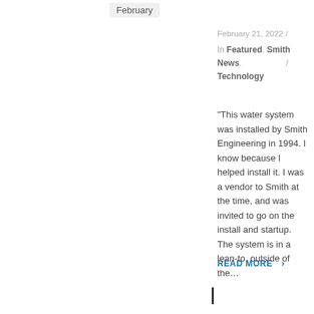February
February 21, 2022 /
In Featured. Smith News. / Technology
"This water system was installed by Smith Engineering in 1994. I know because I helped install it. I was a vendor to Smith at the time, and was invited to go on the install and startup. The system is in a lean-to, outside of the…
READ MORE >